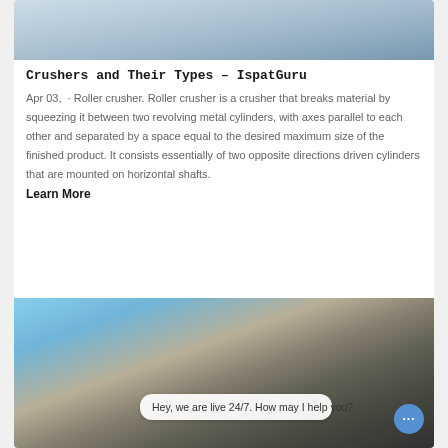[Figure (photo): Top partial image of industrial crusher/mining equipment with structures visible against a light background]
Crushers and Their Types – IspatGuru
Apr 03,  · Roller crusher. Roller crusher is a crusher that breaks material by squeezing it between two revolving metal cylinders, with axes parallel to each other and separated by a space equal to the desired maximum size of the finished product. It consists essentially of two opposite directions driven cylinders that are mounted on horizontal shafts.
Learn More
[Figure (photo): Mobile crusher machine working at a quarry or mining site with blue sky background; chat bubble overlay: 'Hey, we are live 24/7. How may I help you?']